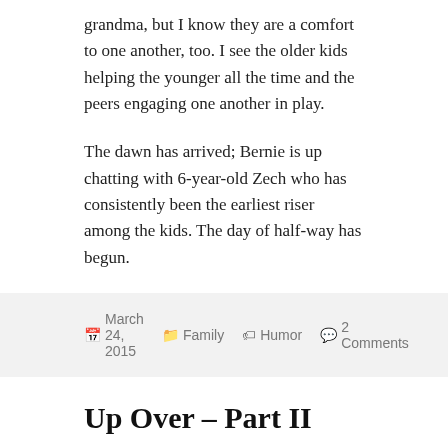grandma, but I know they are a comfort to one another, too. I see the older kids helping the younger all the time and the peers engaging one another in play.
The dawn has arrived; Bernie is up chatting with 6-year-old Zech who has consistently been the earliest riser among the kids. The day of half-way has begun.
March 24, 2015   Family   Humor   2 Comments
Up Over – Part II
I have been journaling this babysitting adventure but have trouble finding time to turn my writings